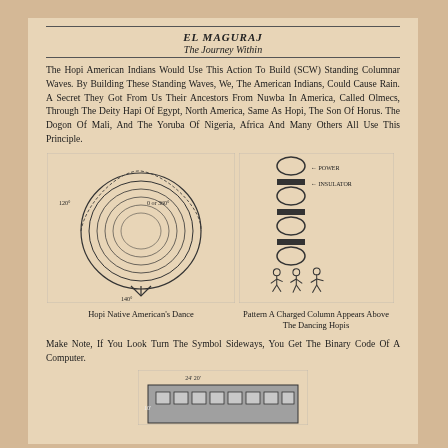EL MAGURAJ / The Journey Within
The Hopi American Indians Would Use This Action To Build (SCW) Standing Columnar Waves. By Building These Standing Waves, We, The American Indians, Could Cause Rain. A Secret They Got From Us Their Ancestors From Nuwba In America, Called Olmecs, Through The Deity Hapi Of Egypt, North America, Same As Hopi, The Son Of Horus. The Dogon Of Mali, And The Yoruba Of Nigeria, Africa And Many Others All Use This Principle.
[Figure (illustration): Drawing of a circular spiral pattern labeled with angles 120° and 0 or 360° and 140°, representing the Hopi Native American Dance pattern]
Hopi Native American's Dance
[Figure (illustration): Pattern showing alternating circles and horizontal bars representing binary code, labeled POWER and INSULATOR, with dancing human figures at the bottom]
Pattern A Charged Column Appears Above The Dancing Hopis
Make Note, If You Look Turn The Symbol Sideways, You Get The Binary Code Of A Computer.
[Figure (illustration): Partial view of a building diagram at the bottom of the page]